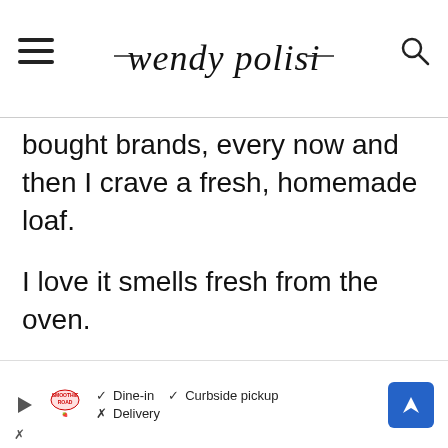wendy polisi
bought brands, every now and then I crave a fresh, homemade loaf.
I love it smells fresh from the oven.
[Figure (other): Advertisement bar: Smoothie Road restaurant with Dine-in, Curbside pickup, Delivery options and navigation arrow]